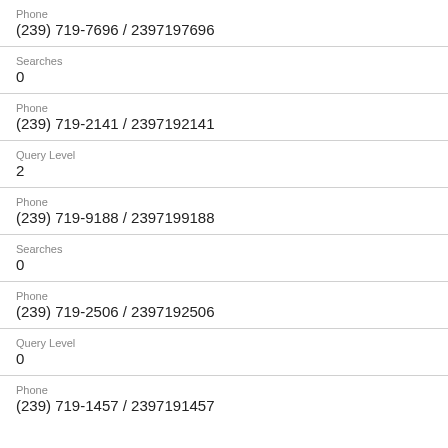Phone
(239) 719-7696 / 2397197696
Searches
0
Phone
(239) 719-2141 / 2397192141
Query Level
2
Phone
(239) 719-9188 / 2397199188
Searches
0
Phone
(239) 719-2506 / 2397192506
Query Level
0
Phone
(239) 719-1457 / 2397191457